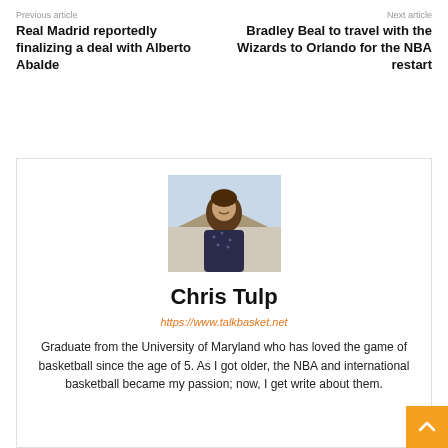Previous article
Real Madrid reportedly finalizing a deal with Alberto Abalde
Next article
Bradley Beal to travel with the Wizards to Orlando for the NBA restart
[Figure (photo): Portrait photo of Chris Tulp, a young man smiling outdoors in front of a house, wearing a dark patterned shirt.]
Chris Tulp
https://www.talkbasket.net
Graduate from the University of Maryland who has loved the game of basketball since the age of 5. As I got older, the NBA and international basketball became my passion; now, I get write about them.